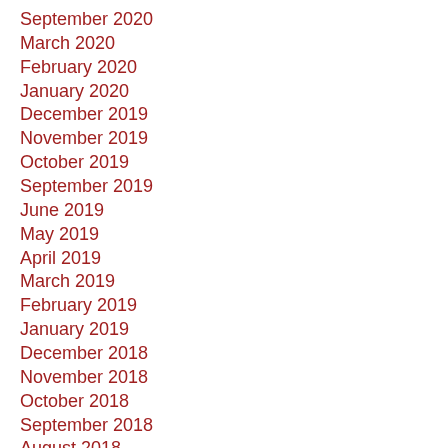September 2020
March 2020
February 2020
January 2020
December 2019
November 2019
October 2019
September 2019
June 2019
May 2019
April 2019
March 2019
February 2019
January 2019
December 2018
November 2018
October 2018
September 2018
August 2018
June 2018
May 2018